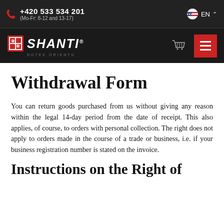+420 533 534 201 (Mo-Fr: 8-12 and 13-17) EN
[Figure (logo): Shanti Dotek Orientu logo with red square icon and white text on dark background, with basket and menu icons]
Withdrawal Form
You can return goods purchased from us without giving any reason within the legal 14-day period from the date of receipt. This also applies, of course, to orders with personal collection. The right does not apply to orders made in the course of a trade or business, i.e. if your business registration number is stated on the invoice.
Instructions on the Right of